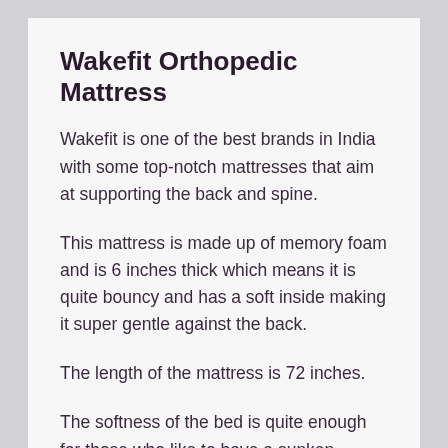Wakefit Orthopedic Mattress
Wakefit is one of the best brands in India with some top-notch mattresses that aim at supporting the back and spine.
This mattress is made up of memory foam and is 6 inches thick which means it is quite bouncy and has a soft inside making it super gentle against the back.
The length of the mattress is 72 inches.
The softness of the bed is quite enough for those who like to have a sunken